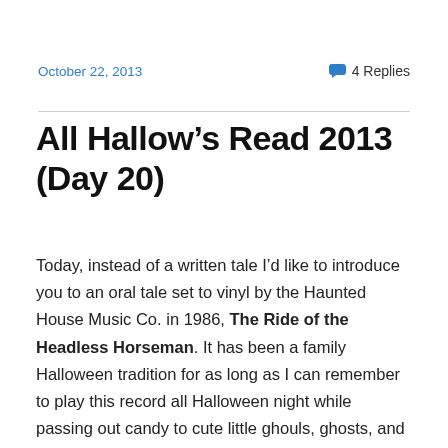October 22, 2013
💬 4 Replies
All Hallow's Read 2013 (Day 20)
Today, instead of a written tale I'd like to introduce you to an oral tale set to vinyl by the Haunted House Music Co. in 1986, The Ride of the Headless Horseman. It has been a family Halloween tradition for as long as I can remember to play this record all Halloween night while passing out candy to cute little ghouls, ghosts, and goblins. Once carried out by my grandma until she finally relinquished possession of her record collection passing the legacy